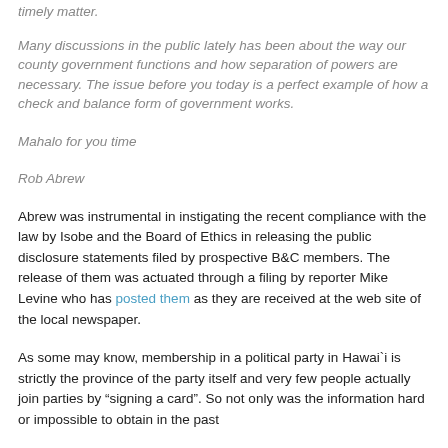timely matter.
Many discussions in the public lately has been about the way our county government functions and how separation of powers are necessary. The issue before you today is a perfect example of how a check and balance form of government works.
Mahalo for you time
Rob Abrew
Abrew was instrumental in instigating the recent compliance with the law by Isobe and the Board of Ethics in releasing the public disclosure statements filed by prospective B&C members. The release of them was actuated through a filing by reporter Mike Levine who has posted them as they are received at the web site of the local newspaper.
As some may know, membership in a political party in Hawai`i is strictly the province of the party itself and very few people actually join parties by “signing a card”. So not only was the information hard or impossible to obtain in the past